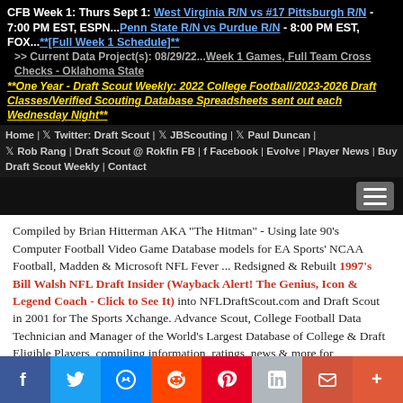CFB Week 1: Thurs Sept 1: West Virginia R/N vs #17 Pittsburgh R/N - 7:00 PM EST, ESPN...Penn State R/N vs Purdue R/N - 8:00 PM EST, FOX...**[Full Week 1 Schedule]**
>> Current Data Project(s): 08/29/22...Week 1 Games, Full Team Cross Checks - Oklahoma State
**One Year - Draft Scout Weekly: 2022 College Football/2023-2026 Draft Classes/Verified Scouting Database Spreadsheets sent out each Wednesday Night**
Home | Twitter: Draft Scout | JBScouting | Paul Duncan | Rob Rang | Draft Scout @ Rokfin FB | Facebook | Evolve | Player News | Buy Draft Scout Weekly | Contact
Compiled by Brian Hitterman AKA "The Hitman" - Using late 90's Computer Football Video Game Database models for EA Sports' NCAA Football, Madden & Microsoft NFL Fever ... Redsigned & Rebuilt 1997's Bill Walsh NFL Draft Insider (Wayback Alert! The Genius, Icon & Legend Coach - Click to See It) into NFLDraftScout.com and Draft Scout in 2001 for The Sports Xchange. Advance Scout, College Football Data Technician and Manager of the World's Largest Database of College & Draft Eligible Players, compiling information, ratings, news & more for